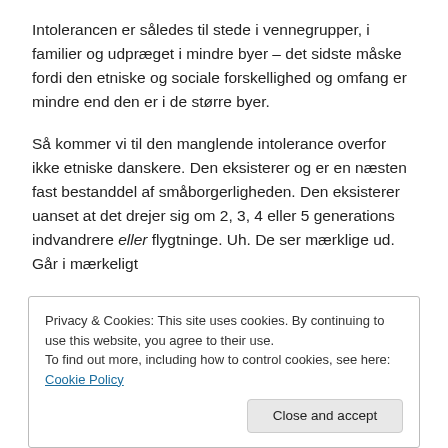Intolerancen er således til stede i vennegrupper, i familier og udpræget i mindre byer – det sidste måske fordi den etniske og sociale forskellighed og omfang er mindre end den er i de større byer.
Så kommer vi til den manglende intolerance overfor ikke etniske danskere. Den eksisterer og er en næsten fast bestanddel af småborgerligheden. Den eksisterer uanset at det drejer sig om 2, 3, 4 eller 5 generations indvandrere eller flygtninge. Uh. De ser mærklige ud. Går i mærkeligt
Privacy & Cookies: This site uses cookies. By continuing to use this website, you agree to their use.
To find out more, including how to control cookies, see here: Cookie Policy
[Figure (photo): Partial image strip visible at bottom of page, appears to be a photo with blue tones]